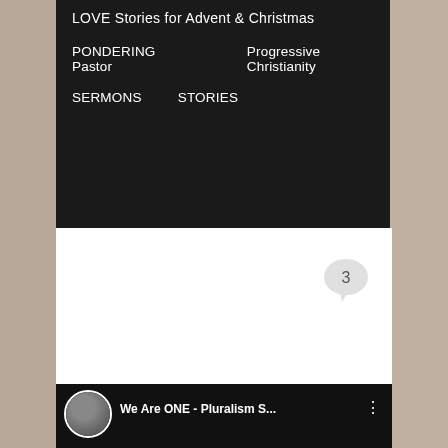LOVE Stories for Advent & Christmas
PONDERING Pastor   Progressive Christianity
SERMONS   STORIES
TAG ARCHIVES: PROGRESSIVE SERMON JOHN 21:15-17
We Are All ONE – Pluralism Sunday – John 21:15-17
Posted on May 5, 2019
[Figure (screenshot): YouTube video thumbnail showing 'We Are ONE - Pluralism S...' with a circular avatar photo of a woman with glasses and a three-dot menu icon]